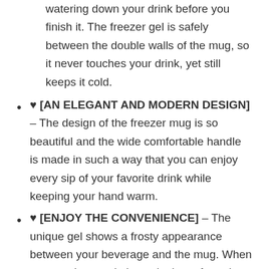watering down your drink before you finish it. The freezer gel is safely between the double walls of the mug, so it never touches your drink, yet still keeps it cold.
♥ [AN ELEGANT AND MODERN DESIGN] – The design of the freezer mug is so beautiful and the wide comfortable handle is made in such a way that you can enjoy every sip of your favorite drink while keeping your hand warm.
♥ [ENJOY THE CONVENIENCE] – The unique gel shows a frosty appearance between your beverage and the mug. When you need to use it, just take it out from the refrigerator and pour it into your drinks, so convenient.
♥ [CUSTOMER SATISFACTION] – If you are